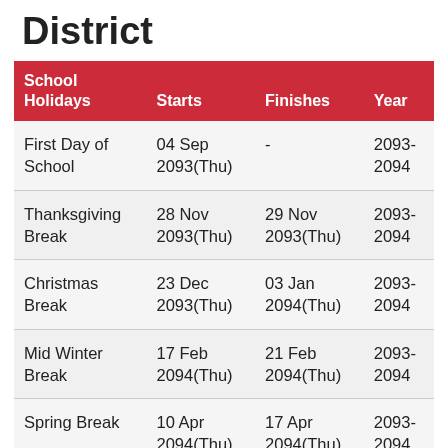District
| School Holidays | Starts | Finishes | Year |
| --- | --- | --- | --- |
| First Day of School | 04 Sep 2093(Thu) | - | 2093-2094 |
| Thanksgiving Break | 28 Nov 2093(Thu) | 29 Nov 2093(Thu) | 2093-2094 |
| Christmas Break | 23 Dec 2093(Thu) | 03 Jan 2094(Thu) | 2093-2094 |
| Mid Winter Break | 17 Feb 2094(Thu) | 21 Feb 2094(Thu) | 2093-2094 |
| Spring Break | 10 Apr 2094(Thu) | 17 Apr 2094(Thu) | 2093-2094 |